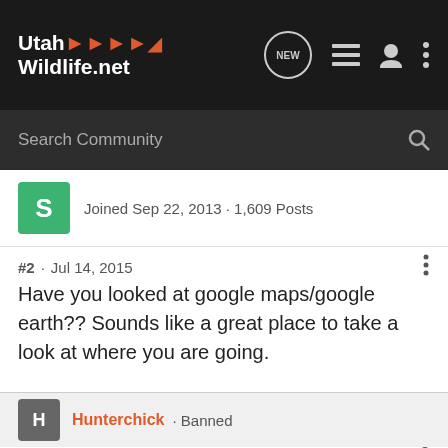Utah Wildlife.net
Search Community
Joined Sep 22, 2013 · 1,609 Posts
#2 · Jul 14, 2015
Have you looked at google maps/google earth?? Sounds like a great place to take a look at where you are going.
To learn is to know, to know is to do, to do is to progress.
Hunterchick · Banned